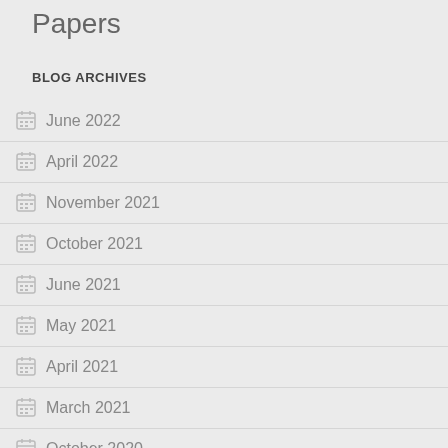Papers
BLOG ARCHIVES
June 2022
April 2022
November 2021
October 2021
June 2021
May 2021
April 2021
March 2021
October 2020